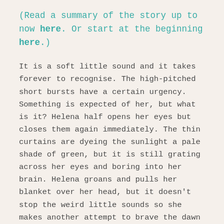(Read a summary of the story up to now here. Or start at the beginning here.)
It is a soft little sound and it takes forever to recognise. The high-pitched short bursts have a certain urgency. Something is expected of her, but what is it? Helena half opens her eyes but closes them again immediately. The thin curtains are dyeing the sunlight a pale shade of green, but it is still grating across her eyes and boring into her brain. Helena groans and pulls her blanket over her head, but it doesn't stop the weird little sounds so she makes another attempt to brave the dawn and peers around her. Something is moving in the basket beside her. She hauls herself up on one elbow and gazes down at the kittens. They are meewing at her, and each other. Most of the kittens have their eyes open now, although they probably still